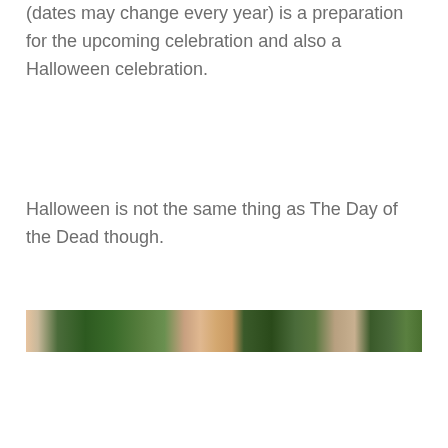(dates may change every year) is a preparation for the upcoming celebration and also a Halloween celebration.
Halloween is not the same thing as The Day of the Dead though.
[Figure (photo): A wide, narrow panoramic photo showing trees with green foliage against a light sky, with warm earth tones visible at the left edge.]